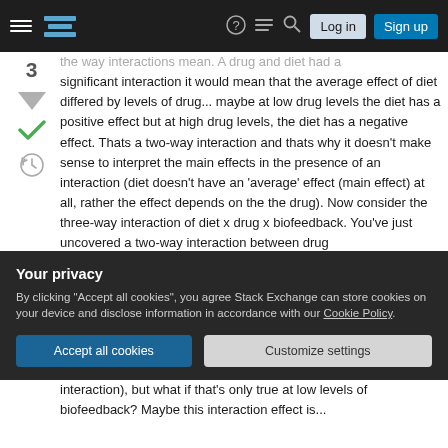Stack Exchange navigation bar with hamburger menu, logo, help, chat, search icons, Log in and Sign up buttons
the way interactions mean. A drug and diet had a significant interaction it would mean that the average effect of diet differed by levels of drug... maybe at low drug levels the diet has a positive effect but at high drug levels, the diet has a negative effect. Thats a two-way interaction and thats why it doesn't make sense to interpret the main effects in the presence of an interaction (diet doesn't have an 'average' effect (main effect) at all, rather the effect depends on the the drug). Now consider the three-way interaction of diet x drug x biofeedback. You've just uncovered a two-way interaction between drug
Your privacy
By clicking "Accept all cookies", you agree Stack Exchange can store cookies on your device and disclose information in accordance with our Cookie Policy.
Accept all cookies   Customize settings
interaction), but what if that's only true at low levels of biofeedback? Maybe this interaction effect is...